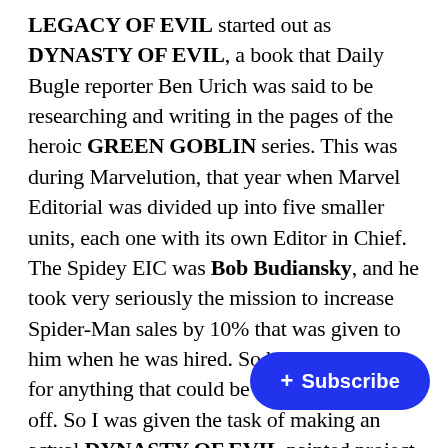LEGACY OF EVIL started out as DYNASTY OF EVIL, a book that Daily Bugle reporter Ben Urich was said to be researching and writing in the pages of the heroic GREEN GOBLIN series. This was during Marvelution, that year when Marvel Editorial was divided up into five smaller units, each one with its own Editor in Chief. The Spidey EIC was Bob Budiansky, and he took very seriously the mission to increase Spider-Man sales by 10% that was given to him when he was hired. So he was looking for anything that could be spun up and spun off. So I was given the task of making an actual DYNASTY OF EVIL painted project that would represent Ben's book. Together with my assistant editor at the time, Glenn Greenberg, we reached out to Kurt Busiek to write it. This was before [we asked] Kurt to write UNTOLD TALES OF [SPIDER-MAN], but Kurt had written MARVELS and knew the history
[Figure (other): Blue rounded rectangle Subscribe button with a plus sign, overlaid on the text in the bottom right area]